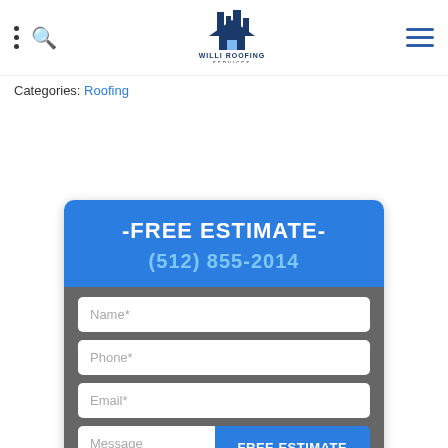Willi Roofing Services
Categories: Roofing
[Figure (infographic): Free Estimate contact form card with blue header showing '-FREE ESTIMATE-' title, phone number (512) 855-2014, and form fields for Name*, Phone*, Email*, Message, and a FREE ESTIMATE submit button]